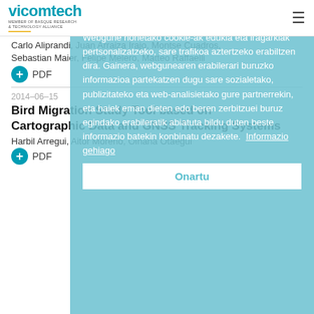vicomtech — MEMBER OF BASQUE RESEARCH & TECHNOLOGY ALLIANCE
Carlo Aliprandi, Juan Arraiza Irajo, Montse Cuadros, Sebastian Maier, Felipe Melero, Matteo Raffaelli
PDF
2014-06-15
Bird Migration Study Tool based on Cartographic Data and GNSS Tracking Systems
Harbil Arregui, Aitor Moreno, Oihana Otaegui
PDF
Webgune honetako cookie-ak edukia eta iragarkiak pertsonalizatzeko, sare trafikoa aztertzeko erabiltzen dira. Gainera, webgunearen erabilerari buruzko informazioa partekatzen dugu sare sozialetako, publizitateko eta web-analisietako gure partnerrekin, eta haiek eman dieten edo beren zerbitzuei buruz egindako erabileratik abiatuta bildu duten beste informazio batekin konbinatu dezakete. Informazio gehiago
Onartu